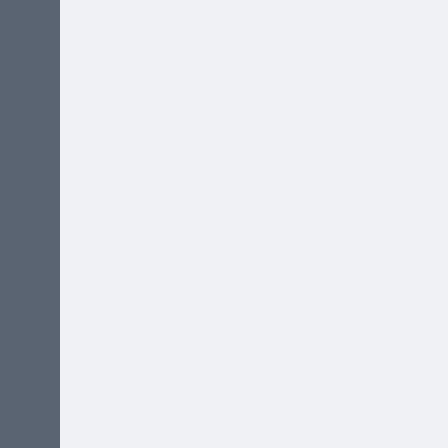even when we were angry or upset with the other. We may not cuddle, or touch each other as we normally do, but we sleep side by side. Just as making